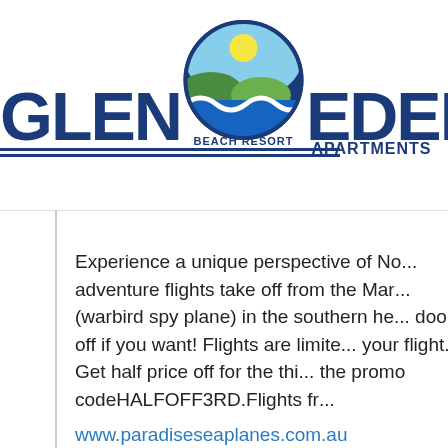[Figure (logo): Glen Eden Beach Resort logo with circular emblem showing sun, hills, and ocean wave, with text GLEN EDEN BEACH RESORT]
Experience a unique perspective of No... adventure flights take off from the Mar... (warbird spy plane) in the southern her... doors off if you want! Flights are limite... your flight. Get half price off for the thi... the promo codeHALFOFF3RD.Flights fro...
www.paradiseseaplanes.com.au
See more at visitnoosa.com.au/this-we...